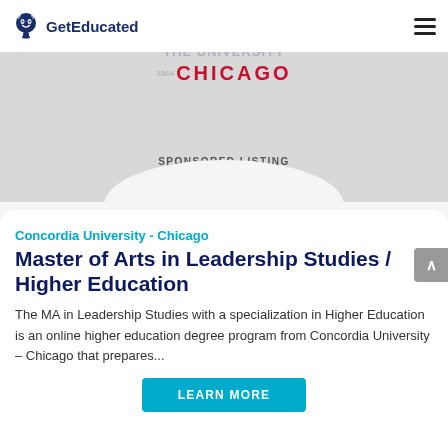GetEducated
[Figure (logo): Concordia University Chicago banner with faded text and red CHICAGO wordmark on grey background. 'SPONSORED LISTING' label visible.]
SPONSORED LISTING
Concordia University - Chicago
Master of Arts in Leadership Studies / Higher Education
The MA in Leadership Studies with a specialization in Higher Education is an online higher education degree program from Concordia University – Chicago that prepares...
LEARN MORE